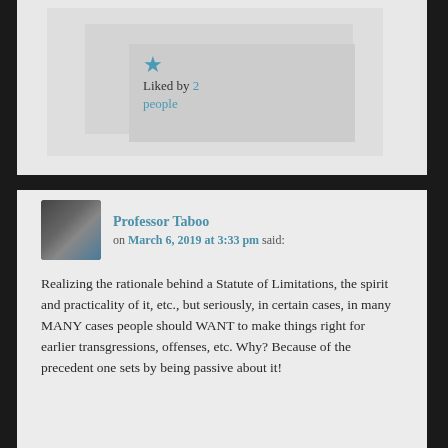★ Liked by 2 people
Professor Taboo on March 6, 2019 at 3:33 pm said:
Realizing the rationale behind a Statute of Limitations, the spirit and practicality of it, etc., but seriously, in certain cases, in many MANY cases people should WANT to make things right for earlier transgressions, offenses, etc. Why? Because of the precedent one sets by being passive about it!